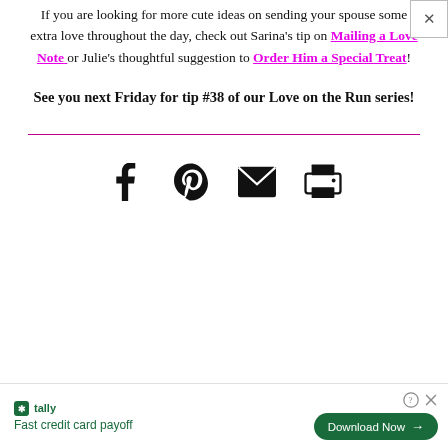If you are looking for more cute ideas on sending your spouse some extra love throughout the day, check out Sarina's tip on Mailing a Love Note or Julie's thoughtful suggestion to Order Him a Special Treat!
See you next Friday for tip #38 of our Love on the Run series!
[Figure (infographic): Social sharing icons: Facebook, Pinterest, Email (envelope), Print (printer)]
[Figure (infographic): Advertisement bar: Tally app - Fast credit card payoff. Download Now button. Help and close controls.]